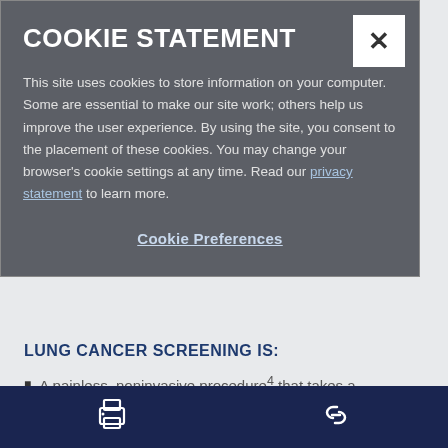COOKIE STATEMENT
This site uses cookies to store information on your computer. Some are essential to make our site work; others help us improve the user experience. By using the site, you consent to the placement of these cookies. You may change your browser's cookie settings at any time. Read our privacy statement to learn more.
Cookie Preferences
LUNG CANCER SCREENING IS:
A painless, noninvasive procedure⁴ that takes a